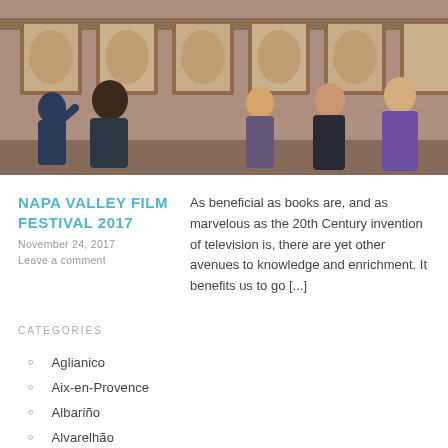[Figure (photo): People standing and looking at framed bronze relief portraits/plaques mounted on a wall in what appears to be a gallery or museum setting.]
NAPA VALLEY FILM FESTIVAL 2017
November 24, 2017
Leave a comment
As beneficial as books are, and as marvelous as the 20th Century invention of television is, there are yet other avenues to knowledge and enrichment.  It benefits us to go [...]
CATEGORIES
Aglianico
Aix-en-Provence
Albariño
Alvarelhão
Amador County
Argentina
Australia